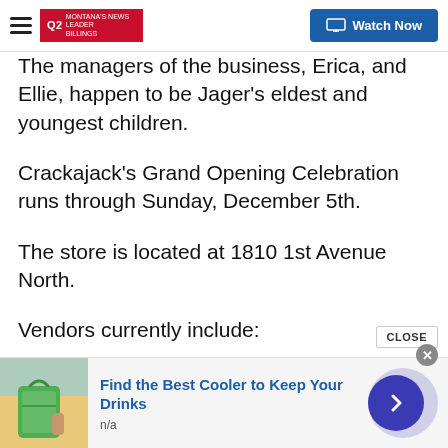Q2 Montana's News Leader | Watch Now
The managers of the business, Erica, and Ellie, happen to be Jager's eldest and youngest children.
Crackajack's Grand Opening Celebration runs through Sunday, December 5th.
The store is located at 1810 1st Avenue North.
Vendors currently include:
Jacqui Brown - Biker Betty
Janet Bergsing - Hello Pink
Rikkie Jager - Renegade Studios
[Figure (screenshot): Advertisement banner: Find the Best Cooler to Keep Your Drinks, with green cooler image and blue arrow navigation button]